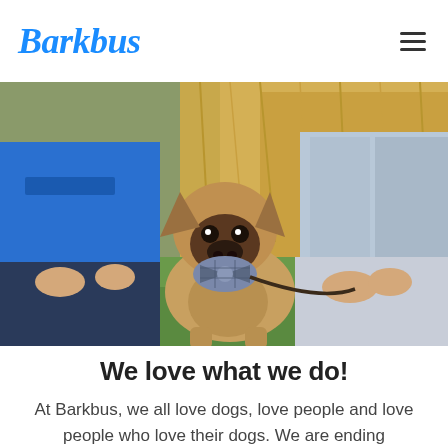Barkbus
[Figure (photo): A French Bulldog wearing a plaid bow tie sitting on green grass between two people. The person on the left wears a blue Barkbus t-shirt, and the person on the right wears a light denim jacket and grey pants. The dog is held on a leash. Background shows tall golden grass.]
We love what we do!
At Barkbus, we all love dogs, love people and love people who love their dogs. We are ending